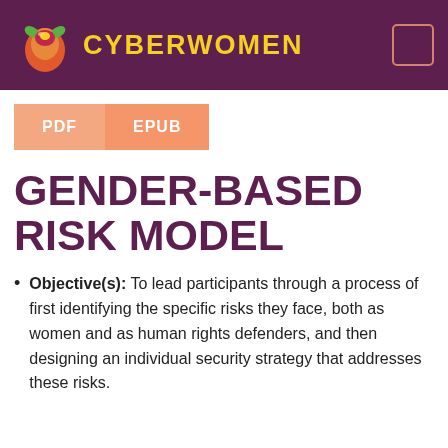CYBERWOMEN
PDF   EPUB
GENDER-BASED RISK MODEL
Objective(s): To lead participants through a process of first identifying the specific risks they face, both as women and as human rights defenders, and then designing an individual security strategy that addresses these risks.